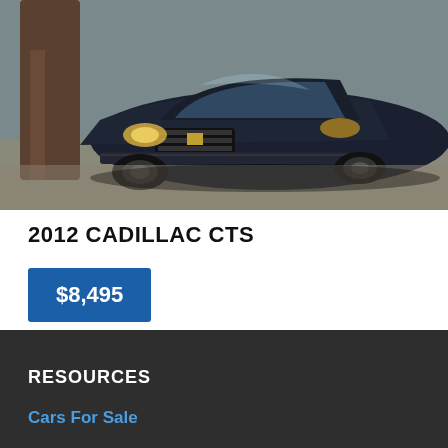[Figure (photo): Front view of a dark-colored 2012 Cadillac CTS sedan parked near a tree on a street, photographed from the front-left angle showing the grille, headlights, and hood.]
2012 CADILLAC CTS
$8,495
View All CADILLAC CTSs In Your Area
RESOURCES
Cars For Sale